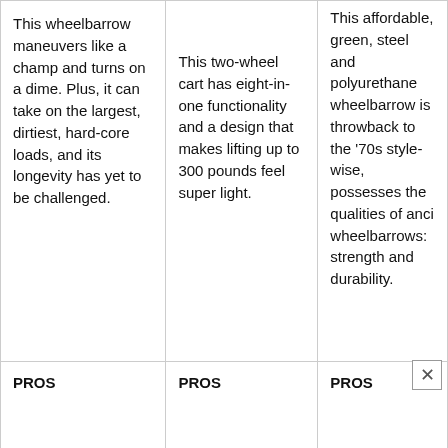| Column 1 | Column 2 | Column 3 |
| --- | --- | --- |
| This wheelbarrow maneuvers like a champ and turns on a dime. Plus, it can take on the largest, dirtiest, hard-core loads, and its longevity has yet to be challenged. | This two-wheel cart has eight-in-one functionality and a design that makes lifting up to 300 pounds feel super light. | This affordable, green, steel and polyurethane wheelbarrow is throwback to the '70s style-wise, possesses the qualities of ancient wheelbarrows: strength and durability. |
| PROS

Sturdy, durable, and easy-to-maneuver steel frame, durable... | PROS

Designed to turn into a dolly and... | PROS

Durable steel fr... is powder-coat... |